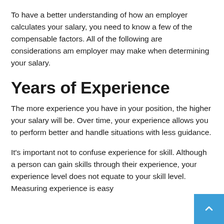To have a better understanding of how an employer calculates your salary, you need to know a few of the compensable factors. All of the following are considerations am employer may make when determining your salary.
Years of Experience
The more experience you have in your position, the higher your salary will be. Over time, your experience allows you to perform better and handle situations with less guidance.
It's important not to confuse experience for skill. Although a person can gain skills through their experience, your experience level does not equate to your skill level. Measuring experience is easy